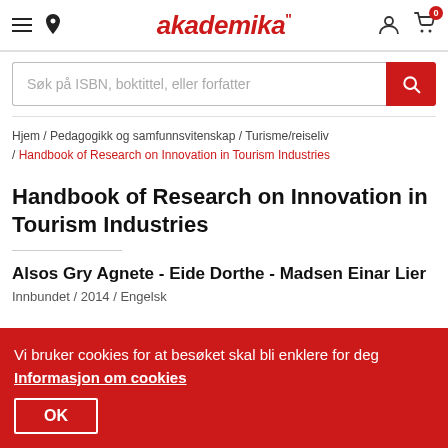akademika
Søk på ISBN, boktittel, eller forfatter
Hjem / Pedagogikk og samfunnsvitenskap / Turisme/reiseliv / Handbook of Research on Innovation in Tourism Industries
Handbook of Research on Innovation in Tourism Industries
Alsos Gry Agnete - Eide Dorthe - Madsen Einar Lier
Innbundet / 2014 / Engelsk
Vi bruker cookies for at besøket skal bli enklere for deg
Informasjon om cookies
OK